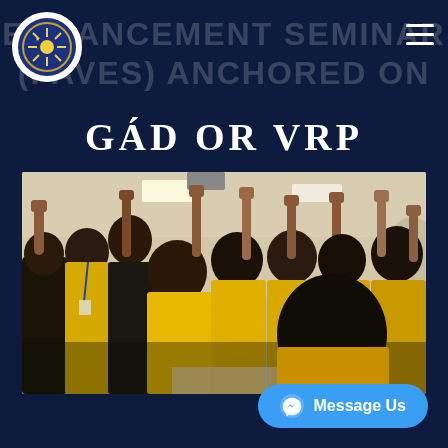ENHANCEMENT SEMINAR (PAVES) ANCHORED ON
GAD OR VRP
[Figure (photo): Group photo of seminar participants wearing yellow shirts with hands raised in a conference/seminar room]
Message Us